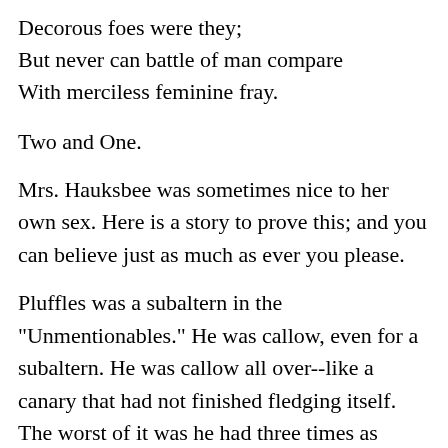Decorous foes were they;
But never can battle of man compare
With merciless feminine fray.
Two and One.
Mrs. Hauksbee was sometimes nice to her own sex. Here is a story to prove this; and you can believe just as much as ever you please.
Pluffles was a subaltern in the "Unmentionables." He was callow, even for a subaltern. He was callow all over--like a canary that had not finished fledging itself. The worst of it was he had three times as much money as was good for him; Pluffles' Papa being a rich man